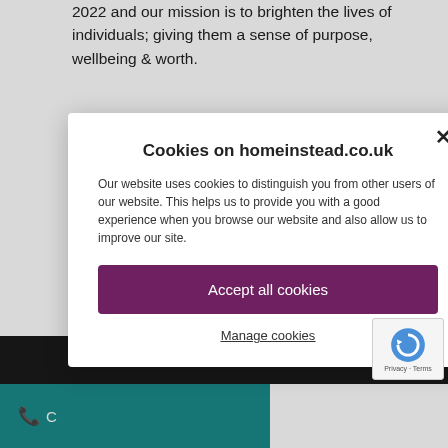2022 and our mission is to brighten the lives of individuals; giving them a sense of purpose, wellbeing & worth.
Job Description
This is an exciting opportunity for a highly skilled, experienced and motivated Care Manager with a strong care background and a passion for high quality care... Mansfield.
As our Care... the start-up... domiciliary... outstanding... responsib...
[Figure (other): Cookie consent modal dialog on homeinstead.co.uk with title 'Cookies on homeinstead.co.uk', description text, Accept all cookies button, and Manage cookies link]
C...